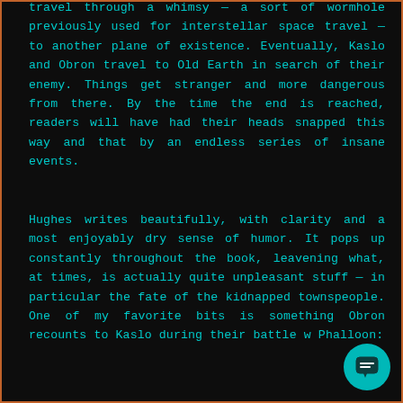travel through a whimsy — a sort of wormhole previously used for interstellar space travel — to another plane of existence. Eventually, Kaslo and Obron travel to Old Earth in search of their enemy. Things get stranger and more dangerous from there. By the time the end is reached, readers will have had their heads snapped this way and that by an endless series of insane events.
Hughes writes beautifully, with clarity and a most enjoyably dry sense of humor. It pops up constantly throughout the book, leavening what, at times, is actually quite unpleasant stuff — in particular the fate of the kidnapped townspeople. One of my favorite bits is something Obron recounts to Kaslo during their battle w Phalloon: